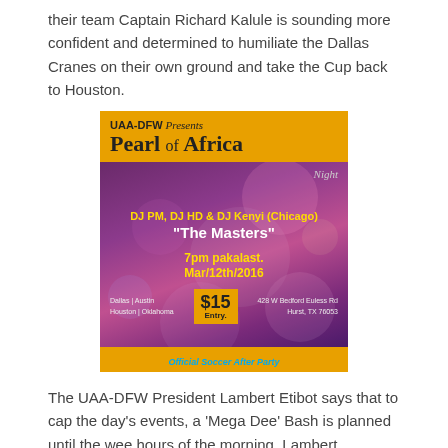their team Captain Richard Kalule is sounding more confident and determined to humiliate the Dallas Cranes on their own ground and take the Cup back to Houston.
[Figure (illustration): Promotional flyer for UAA-DFW 'Pearl of Africa Night' event. Features yellow banner with event title, dark purple background with bokeh light effects, DJ names (DJ PM, DJ HD & DJ Kenyi from Chicago) billed as 'The Masters', date 7pm pakalast. Mar/12th/2016, $15 entry, address 428 W Bedford Euless Rd Hurst TX 76053, cities Dallas/Austin/Houston/Oklahoma, and Official Soccer After Party banner at bottom.]
The UAA-DFW President Lambert Etibot says that to cap the day's events, a 'Mega Dee' Bash is planned until the wee hours of the morning. Lambert